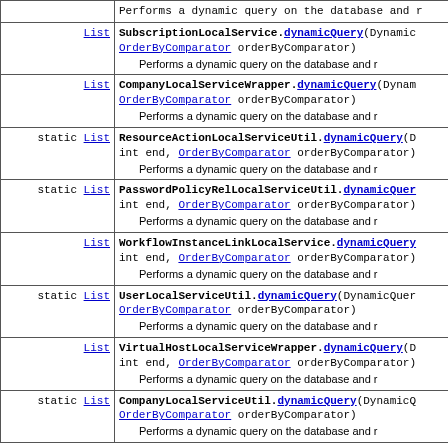| Type | Method and Description |
| --- | --- |
|  | Performs a dynamic query on the database and r |
| List | SubscriptionLocalService.dynamicQuery(Dynamic OrderByComparator orderByComparator)
Performs a dynamic query on the database and r |
| List | CompanyLocalServiceWrapper.dynamicQuery(Dynam OrderByComparator orderByComparator)
Performs a dynamic query on the database and r |
| static List | ResourceActionLocalServiceUtil.dynamicQuery(D int end, OrderByComparator orderByComparator)
Performs a dynamic query on the database and r |
| static List | PasswordPolicyRelLocalServiceUtil.dynamicQuer int end, OrderByComparator orderByComparator)
Performs a dynamic query on the database and r |
| List | WorkflowInstanceLinkLocalService.dynamicQuery int end, OrderByComparator orderByComparator)
Performs a dynamic query on the database and r |
| static List | UserLocalServiceUtil.dynamicQuery(DynamicQuer OrderByComparator orderByComparator)
Performs a dynamic query on the database and r |
| List | VirtualHostLocalServiceWrapper.dynamicQuery(D int end, OrderByComparator orderByComparator)
Performs a dynamic query on the database and r |
| static List | CompanyLocalServiceUtil.dynamicQuery(DynamicQ OrderByComparator orderByComparator)
Performs a dynamic query on the database and r |